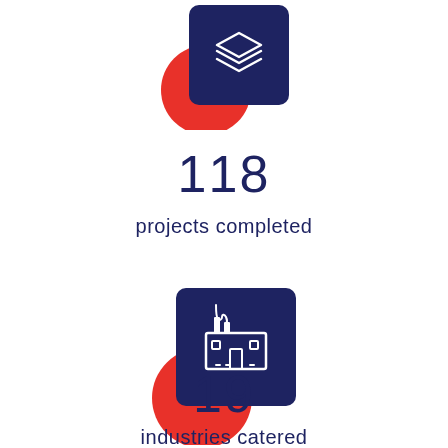[Figure (infographic): Dark navy blue rounded square icon with a white layered document/stack icon, overlapping a red circle in the bottom-left corner. Partially cropped at top of page.]
118
projects completed
[Figure (infographic): Dark navy blue rounded square icon with a white factory/industry building icon (with smokestacks), overlapping a red circle in the bottom-left corner.]
19
industries catered